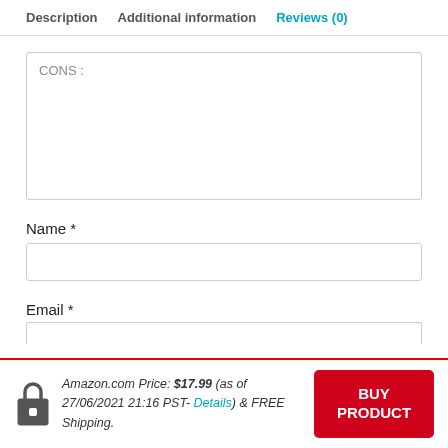Description   Additional information   Reviews (0)
CONS:
Name *
Email *
Amazon.com Price: $17.99 (as of 27/06/2021 21:16 PST- Details) & FREE Shipping.
BUY PRODUCT